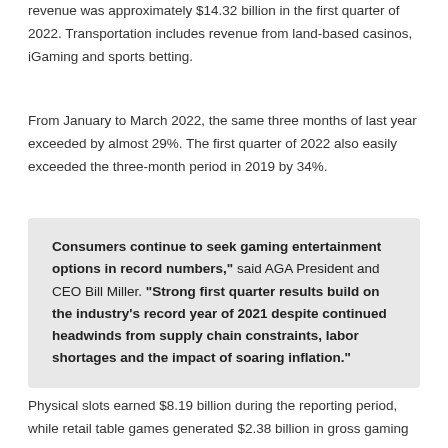revenue was approximately $14.32 billion in the first quarter of 2022. Transportation includes revenue from land-based casinos, iGaming and sports betting.
From January to March 2022, the same three months of last year exceeded by almost 29%. The first quarter of 2022 also easily exceeded the three-month period in 2019 by 34%.
Consumers continue to seek gaming entertainment options in record numbers," said AGA President and CEO Bill Miller. "Strong first quarter results build on the industry's record year of 2021 despite continued headwinds from supply chain constraints, labor shortages and the impact of soaring inflation."
Physical slots earned $8.19 billion during the reporting period, while retail table games generated $2.38 billion in gross gaming revenue